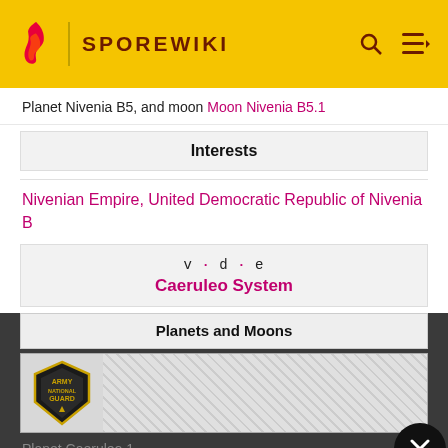SPOREWIKI
Planet Nivenia B5, and moon Moon Nivenia B5.1
Interests
Nivenian Empire, United Democratic Republic of Nivenia B
v · d · e  Caeruleo System
Planets and Moons
[Figure (illustration): Army National Guard advertisement banner]
Planet Caeruleo 1
Planet Caeruleo 2, and moon Moon Caeruleo 2.1